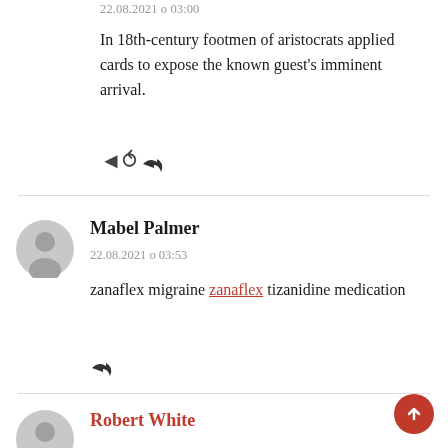22.08.2021 о 03:00
In 18th-century footmen of aristocrats applied cards to expose the known guest's imminent arrival.
Mabel Palmer
22.08.2021 о 03:53
zanaflex migraine zanaflex tizanidine medication
Robert White